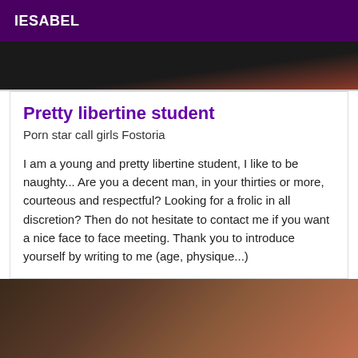IESABEL
[Figure (photo): Dark close-up photo, partially visible at top]
Pretty libertine student
Porn star call girls Fostoria
I am a young and pretty libertine student, I like to be naughty... Are you a decent man, in your thirties or more, courteous and respectful? Looking for a frolic in all discretion? Then do not hesitate to contact me if you want a nice face to face meeting. Thank you to introduce yourself by writing to me (age, physique...)
[Figure (photo): Dark close-up photo at bottom of page]